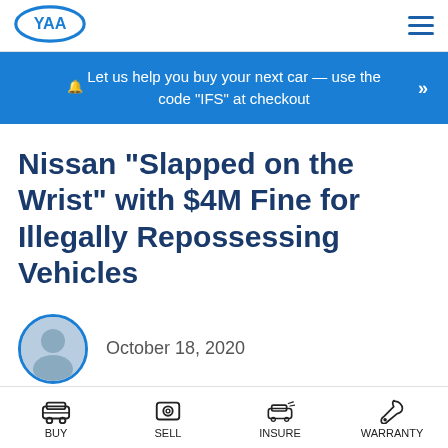YAA logo and navigation menu
🔔 Let us help you buy your next car — use the code "IFS" at checkout
Nissan “Slapped on the Wrist” with $4M Fine for Illegally Repossessing Vehicles
October 18, 2020
BUY  SELL  INSURE  WARRANTY